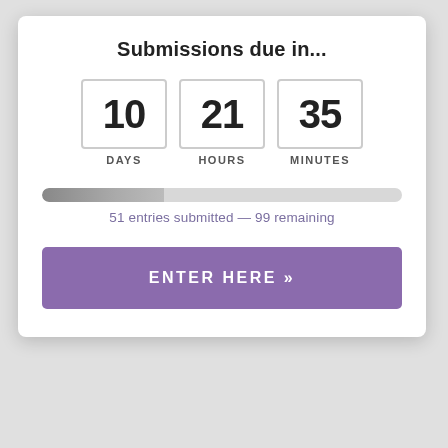Submissions due in...
[Figure (infographic): Countdown timer showing 10 DAYS, 21 HOURS, 35 MINUTES in bordered boxes]
[Figure (infographic): Progress bar showing approximately 34% filled, with text: 51 entries submitted — 99 remaining]
51 entries submitted — 99 remaining
ENTER HERE »